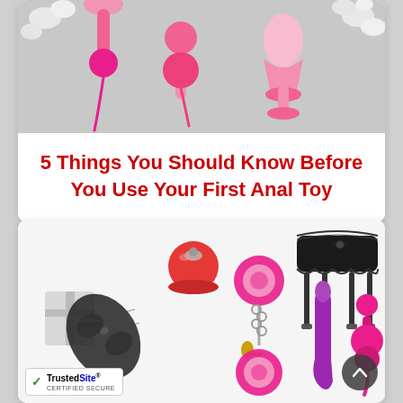[Figure (photo): Overhead flat-lay photo of pink adult toys (kegel balls, plugs, etc.) on a white floral background]
5 Things You Should Know Before You Use Your First Anal Toy
[Figure (photo): Overhead flat-lay photo of adult novelty items including a red bell, pink furry handcuffs, black lace mask, black garter belt, purple vibrator, and pink kegel balls on a white background]
[Figure (logo): TrustedSite Certified Secure badge]